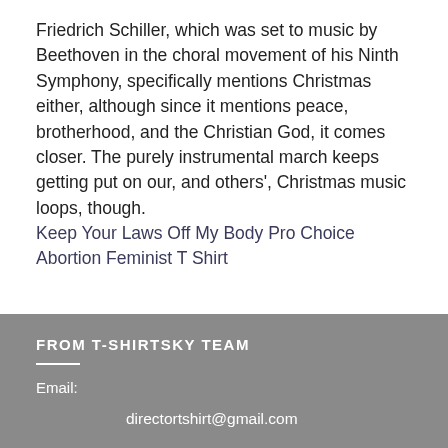Friedrich Schiller, which was set to music by Beethoven in the choral movement of his Ninth Symphony, specifically mentions Christmas either, although since it mentions peace, brotherhood, and the Christian God, it comes closer. The purely instrumental march keeps getting put on our, and others', Christmas music loops, though.
Keep Your Laws Off My Body Pro Choice Abortion Feminist T Shirt
FROM T-SHIRTSKY TEAM
Email:
directortshirt@gmail.com